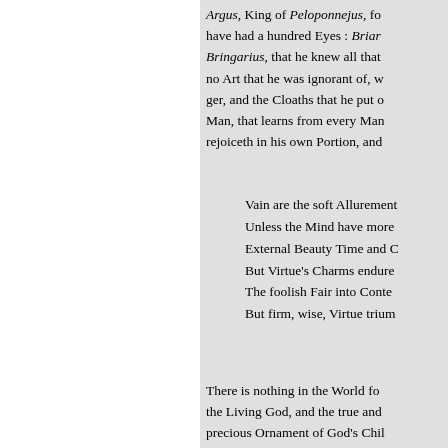Argus, King of Peloponnejus, for that he was said to have had a hundred Eyes : Briaræus, or Bringarius, that he knew all that ... no Art that he was ignorant of, w... ger, and the Cloaths that he put o... Man, that learns from every Man... rejoiceth in his own Portion, and...
Vain are the soft Allurement... Unless the Mind have more... External Beauty Time and C... But Virtue's Charms endure... The foolish Fair into Conte... But firm, wise, Virtue trium...
There is nothing in the World fo... the Living God, and the true and... precious Ornament of God's Chil... Hearts and Affections of all such... which is the Perfection of a happ... invisible Gesture of Mind...